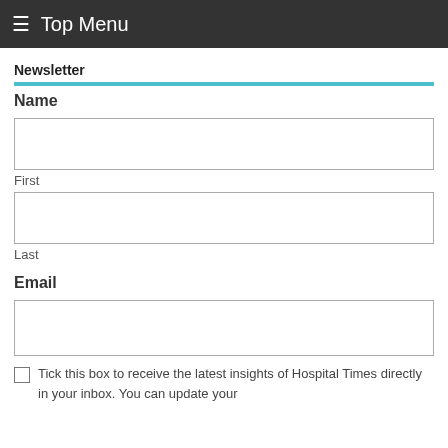≡ Top Menu
Newsletter
Name
First
Last
Email
Tick this box to receive the latest insights of Hospital Times directly in your inbox. You can update your